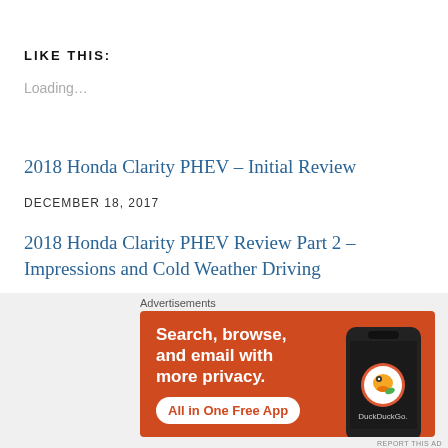LIKE THIS:
Loading…
2018 Honda Clarity PHEV – Initial Review
DECEMBER 18, 2017
2018 Honda Clarity PHEV Review Part 2 – Impressions and Cold Weather Driving
DECEMBER 31, 2017
Advertisements
[Figure (illustration): DuckDuckGo advertisement banner: orange background with text 'Search, browse, and email with more privacy. All in One Free App' alongside a smartphone showing the DuckDuckGo app]